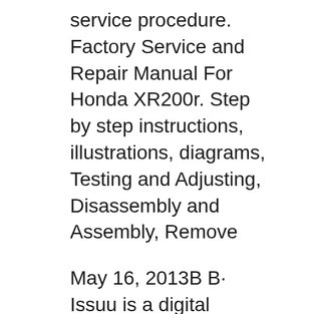service procedure. Factory Service and Repair Manual For Honda XR200r. Step by step instructions, illustrations, diagrams, Testing and Adjusting, Disassembly and Assembly, Remove
May 16, 2013В В· Issuu is a digital publishing platform that makes it simple to publish magazines, catalogs, newspapers, books, and more online. XR600 Honda XR200R вЂ¦ Sep 15, 2018В В· Additionally, this manual covers any model year between 1986 and 2002. Any unauthorized Honda XR200R repair manual might cover a wider range of models, which is why the Cyclepedia service manual is so useful; you will know that your repair work is in